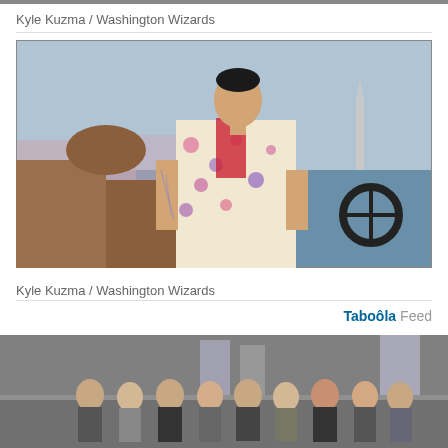Kyle Kuzma / Washington Wizards
[Figure (photo): Kyle Kuzma seated in a luxury boat wearing a floral outfit with a basketball jersey, Washington Monument visible in background across water]
Kyle Kuzma / Washington Wizards
Taboola Feed
[Figure (photo): Group of people standing on a city street, partially visible at bottom of page]